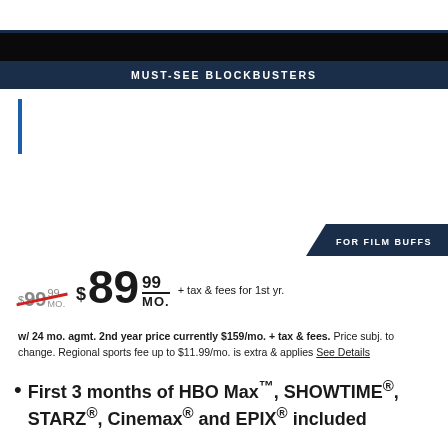MUST-SEE BLOCKBUSTERS
FOR FILM BUFFS
$99.99/MO. struck through, $89.99/MO. + tax & fees for 1st yr.
w/ 24 mo. agmt. 2nd year price currently $159/mo. + tax & fees. Price subj. to change. Regional sports fee up to $11.99/mo. is extra & applies See Details
First 3 months of HBO Max™, SHOWTIME®, STARZ®, Cinemax® and EPIX® included
HBO Max™, SHOWTIME®, STARZ®, EPIX® and Cinemax® auto-renew after 3 months at then prevailing rates (currently $14.99/mo. for HBO Max™, $11/mo. each for SHOWTIME®, STARZ® and Cinemax®, and $6/mo. for EPIX®), unless